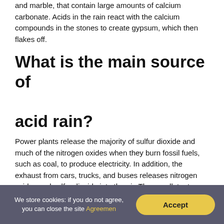and marble, that contain large amounts of calcium carbonate. Acids in the rain react with the calcium compounds in the stones to create gypsum, which then flakes off.
What is the main source of acid rain?
Power plants release the majority of sulfur dioxide and much of the nitrogen oxides when they burn fossil fuels, such as coal, to produce electricity. In addition, the exhaust from cars, trucks, and buses releases nitrogen oxides and sulfur dioxide into the air. These pollutants cause acid rain.
What effects does acid rain
We store cookies: if you do not agree, you can close the site Agreemen